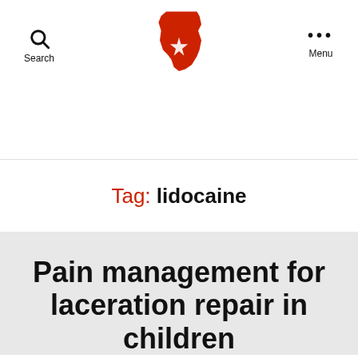Search | [Ohio Logo] | Menu
Tag: lidocaine
Pain management for laceration repair in children
June 21, 2022  No Comments